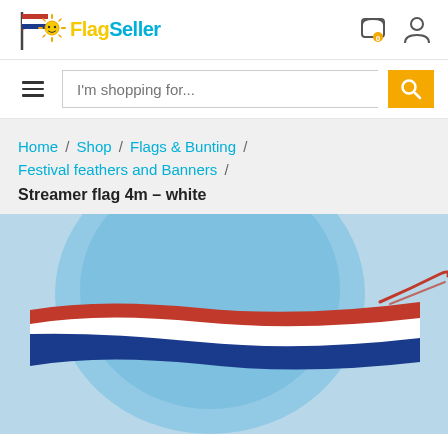[Figure (logo): FlagSeller logo with flag icon, sun mascot, and colorful text]
I'm shopping for...
Home / Shop / Flags & Bunting / Festival feathers and Banners / Streamer flag 4m – white
Streamer flag 4m – white
[Figure (photo): Photo of a red, white and blue streamer flag flying against a blue sky]